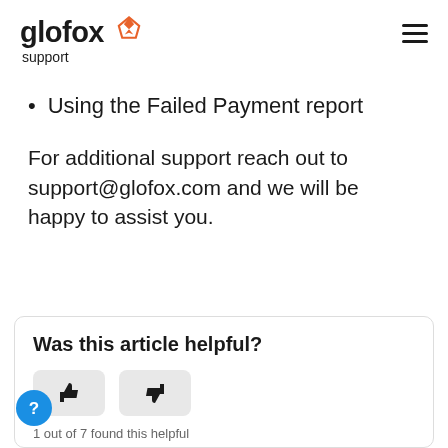glofox support
Using the Failed Payment report
For additional support reach out to support@glofox.com and we will be happy to assist you.
Was this article helpful?
1 out of 7 found this helpful